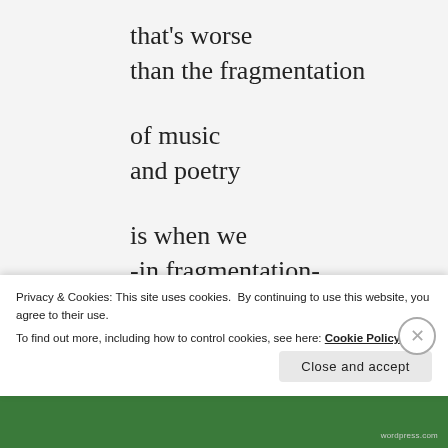that's worse
than the fragmentation

of music
and poetry

is when we
-in fragmentation-
try to unite them
H... ...d (partial, cut off)
Privacy & Cookies: This site uses cookies. By continuing to use this website, you agree to their use.
To find out more, including how to control cookies, see here: Cookie Policy
Close and accept